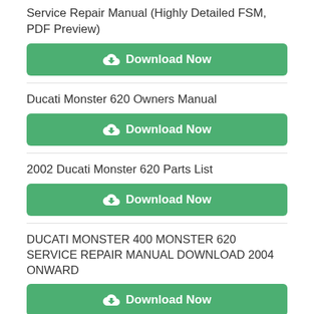Service Repair Manual (Highly Detailed FSM, PDF Preview)
[Figure (other): Green Download Now button]
Ducati Monster 620 Owners Manual
[Figure (other): Green Download Now button]
2002 Ducati Monster 620 Parts List
[Figure (other): Green Download Now button]
DUCATI MONSTER 400 MONSTER 620 SERVICE REPAIR MANUAL DOWNLOAD 2004 ONWARD
[Figure (other): Green Download Now button]
DUCATI MONSTER 400 MONSTER 620 SERVICE REPAIR MANUAL DOWNLOAD 2006 ONWARD